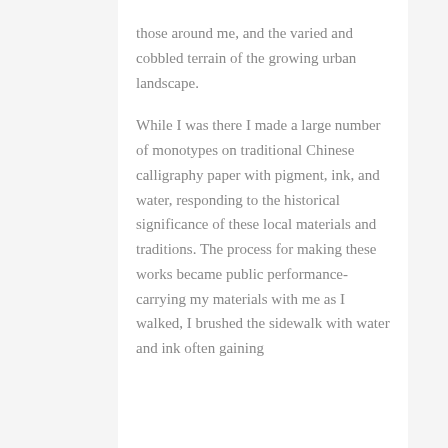those around me, and the varied and cobbled terrain of the growing urban landscape. While I was there I made a large number of monotypes on traditional Chinese calligraphy paper with pigment, ink, and water, responding to the historical significance of these local materials and traditions. The process for making these works became public performance- carrying my materials with me as I walked, I brushed the sidewalk with water and ink often gaining